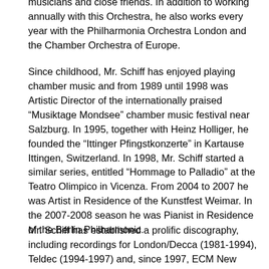musicians and close friends. In addition to working annually with this Orchestra, he also works every year with the Philharmonia Orchestra London and the Chamber Orchestra of Europe.
Since childhood, Mr. Schiff has enjoyed playing chamber music and from 1989 until 1998 was Artistic Director of the internationally praised “Musiktage Mondsee” chamber music festival near Salzburg. In 1995, together with Heinz Holliger, he founded the “Ittinger Pfingstkonzerte” in Kartause Ittingen, Switzerland. In 1998, Mr. Schiff started a similar series, entitled “Hommage to Palladio” at the Teatro Olimpico in Vicenza. From 2004 to 2007 he was Artist in Residence of the Kunstfest Weimar. In the 2007-2008 season he was Pianist in Residence of the Berlin Philharmonic.
Mr. Schiff has established a prolific discography, including recordings for London/Decca (1981-1994), Teldec (1994-1997) and, since 1997, ECM New Series. Recordings for ECM include the complete solo piano music of Beethoven